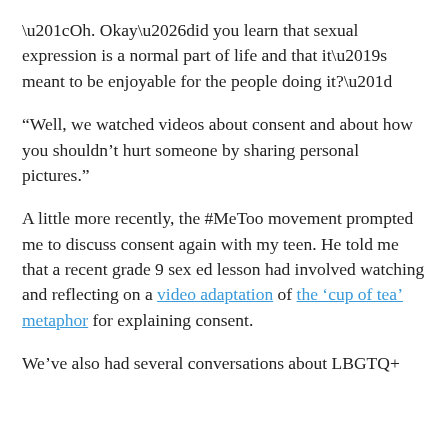“Oh. Okay…did you learn that sexual expression is a normal part of life and that it’s meant to be enjoyable for the people doing it?”
“Well, we watched videos about consent and about how you shouldn’t hurt someone by sharing personal pictures.”
A little more recently, the #MeToo movement prompted me to discuss consent again with my teen. He told me that a recent grade 9 sex ed lesson had involved watching and reflecting on a video adaptation of the ‘cup of tea’ metaphor for explaining consent.
We’ve also had several conversations about LBGTQ+